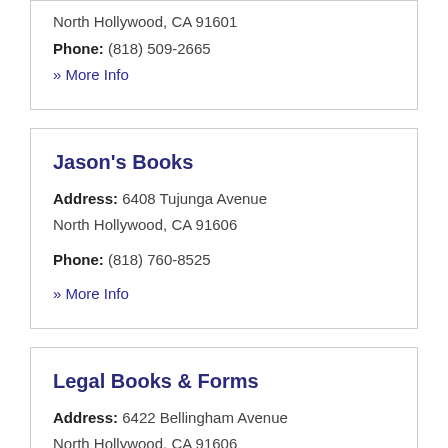North Hollywood, CA 91601
Phone: (818) 509-2665
» More Info
Jason's Books
Address: 6408 Tujunga Avenue
North Hollywood, CA 91606
Phone: (818) 760-8525
» More Info
Legal Books & Forms
Address: 6422 Bellingham Avenue
North Hollywood, CA 91606
Ph... (818) 985-3989